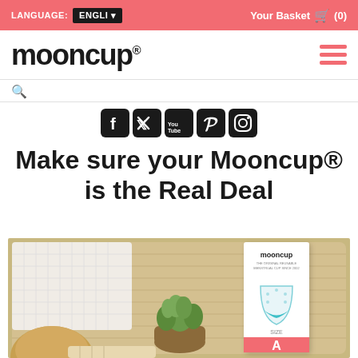LANGUAGE: ENGLI  Your Basket (0)
mooncup®
[Figure (illustration): Social media icons row: Facebook, Twitter, YouTube, Pinterest, Instagram icons in black rounded squares]
Make sure your Mooncup® is the Real Deal
[Figure (photo): Product lifestyle photo showing a Mooncup box (Size A) on a wooden tray with a white waffle towel, a small succulent plant in a pot, and a cork item in the foreground]